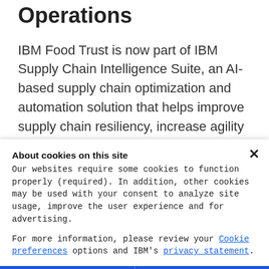Operations
IBM Food Trust is now part of IBM Supply Chain Intelligence Suite, an AI-based supply chain optimization and automation solution that helps improve supply chain resiliency, increase agility and accelerate time-to-value. This integrated application suite provides actionable insights, smarter workflows
About cookies on this site
Our websites require some cookies to function properly (required). In addition, other cookies may be used with your consent to analyze site usage, improve the user experience and for advertising.

For more information, please review your Cookie preferences options and IBM's privacy statement.
Required only
Accept all